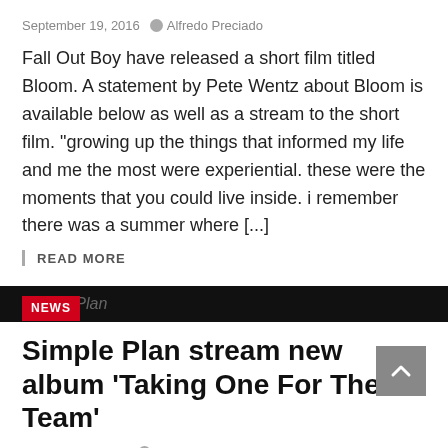September 19, 2016   Alfredo Preciado
Fall Out Boy have released a short film titled Bloom. A statement by Pete Wentz about Bloom is available below as well as a stream to the short film. “growing up the things that informed my life and me the most were experiential. these were the moments that you could live inside. i remember there was a summer where [...]
| READ MORE
NEWS
Simple Plan stream new album ‘Taking One For The Team’
February 23, 2016   Alex Lizette
Simple Plan have released their new album Taking One For The Team this past Friday, February 19 via Atlantic Records. Listen to the full album below.